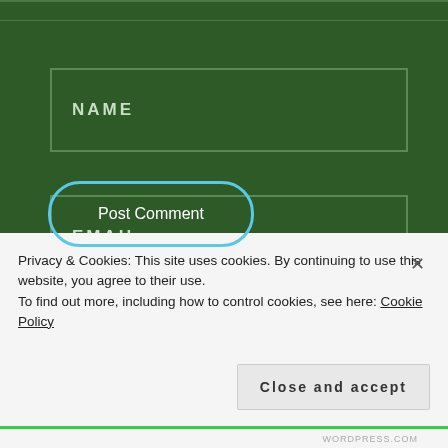NAME
EMAIL
WEBSITE
Post Comment
Privacy & Cookies: This site uses cookies. By continuing to use this website, you agree to their use.
To find out more, including how to control cookies, see here: Cookie Policy
Close and accept